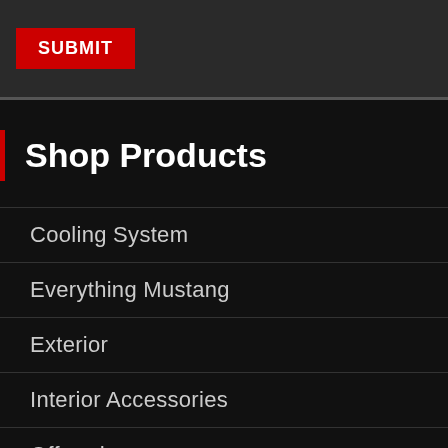SUBMIT
Shop Products
Cooling System
Everything Mustang
Exterior
Interior Accessories
Offroad
Seats & Upholstery
Steering Columns